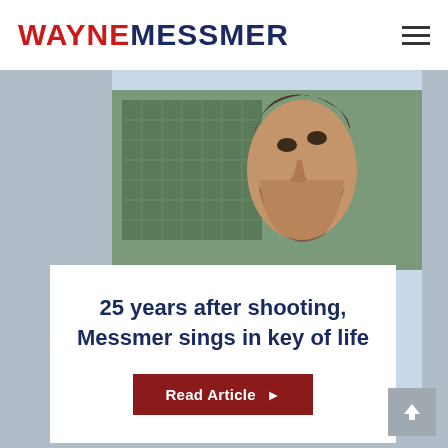WAYNEMESSMER
[Figure (photo): A bearded man wearing a varsity jacket (white/cream and blue) looking upward, photographed outdoors with a stadium building visible in the background.]
25 years after shooting, Messmer sings in key of life
Read Article